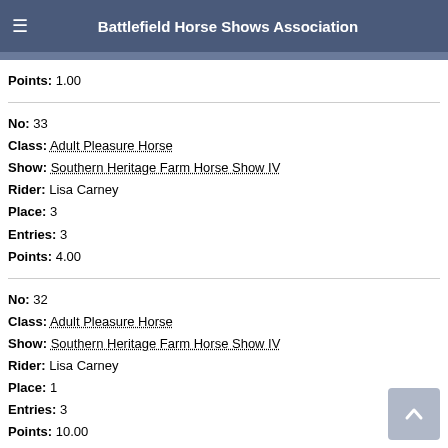Battlefield Horse Shows Association
Points: 1.00
No: 33
Class: Adult Pleasure Horse
Show: Southern Heritage Farm Horse Show IV
Rider: Lisa Carney
Place: 3
Entries: 3
Points: 4.00
No: 32
Class: Adult Pleasure Horse
Show: Southern Heritage Farm Horse Show IV
Rider: Lisa Carney
Place: 1
Entries: 3
Points: 10.00
No: 31
Class: Adult Pleasure Horse
Show: Southern Heritage Farm Horse Show IV